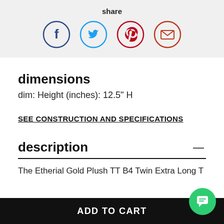share
[Figure (infographic): Four social share icon circles: Facebook (dark blue), Twitter (light blue), Pinterest (dark red), Email (dark red)]
dimensions
dim: Height (inches): 12.5" H
SEE CONSTRUCTION AND SPECIFICATIONS
description
The Etherial Gold Plush TT B4 Twin Extra Long T...
ADD TO CART